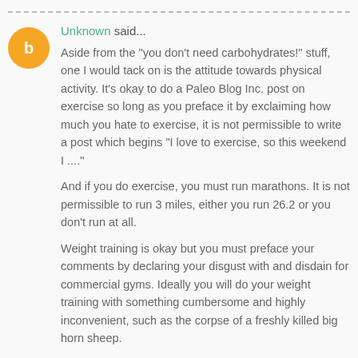Unknown said...
Aside from the "you don't need carbohydrates!" stuff, one I would tack on is the attitude towards physical activity. It's okay to do a Paleo Blog Inc. post on exercise so long as you preface it by exclaiming how much you hate to exercise, it is not permissible to write a post which begins "I love to exercise, so this weekend I ...."

And if you do exercise, you must run marathons. It is not permissible to run 3 miles, either you run 26.2 or you don't run at all.

Weight training is okay but you must preface your comments by declaring your disgust with and disdain for commercial gyms. Ideally you will do your weight training with something cumbersome and highly inconvenient, such as the corpse of a freshly killed big horn sheep.
January 31, 2013 at 1:57 PM